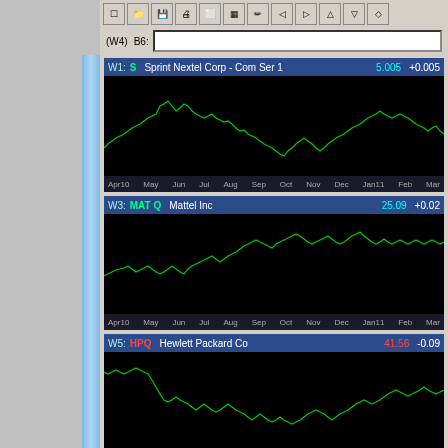[Figure (screenshot): Financial charting software showing three stock price charts: Sprint Nextel Corp (S) at 5.005 +0.005, Mattel Inc (MAT Q) at 25.09 +0.02, and Hewlett Packard Co (HPQ) at 41.56 -0.09, each showing price history from Apr 2010 to Mar 2011 as green line charts on black background]
[Figure (continuous-plot): Green line chart of S stock price from Apr10 to Mar, showing volatile movement, price 5.005, change +0.005]
[Figure (continuous-plot): Green line chart of MAT Q stock price from Apr10 to Mar, showing uptrend, price 25.09, change +0.02]
[Figure (continuous-plot): Green line chart of HPQ stock price from Apr10 to Mar, showing downtrend then partial recovery, price 41.56, change -0.09]